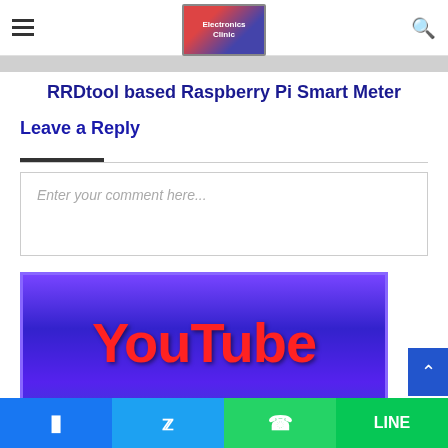Electronics Clinic — navigation header with hamburger menu and search icon
RRDtool based Raspberry Pi Smart Meter
Leave a Reply
Enter your comment here...
[Figure (photo): YouTube banner image with red YouTube text on blue/purple glowing background]
Social share bar: Facebook, Twitter, WhatsApp, Line